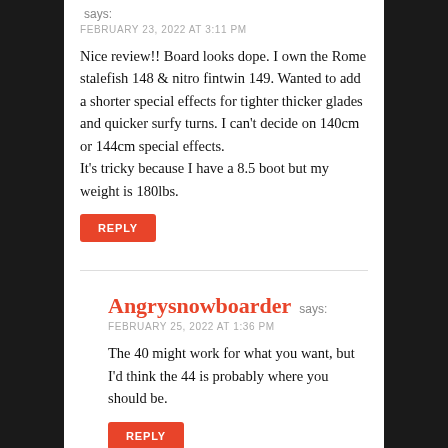says: FEBRUARY 23, 2022 AT 3:11 PM
Nice review!! Board looks dope. I own the Rome stalefish 148 & nitro fintwin 149. Wanted to add a shorter special effects for tighter thicker glades and quicker surfy turns. I can't decide on 140cm or 144cm special effects.
It's tricky because I have a 8.5 boot but my weight is 180lbs.
REPLY
Angrysnowboarder says: FEBRUARY 25, 2022 AT 1:36 PM
The 40 might work for what you want, but I'd think the 44 is probably where you should be.
REPLY